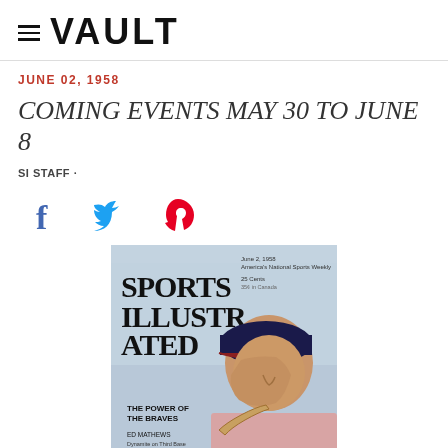≡ VAULT
JUNE 02, 1958
COMING EVENTS MAY 30 TO JUNE 8
SI STAFF ·
[Figure (illustration): Social media share icons: Facebook (f), Twitter (bird), Pinterest (p)]
[Figure (photo): Sports Illustrated magazine cover dated June 2, 1958 featuring Ed Mathews of the Braves holding a baseball bat, with text 'SPORTS ILLUSTRATED', 'THE POWER OF THE BRAVES', 'ED MATHEWS', 'America's National Sports Weekly']